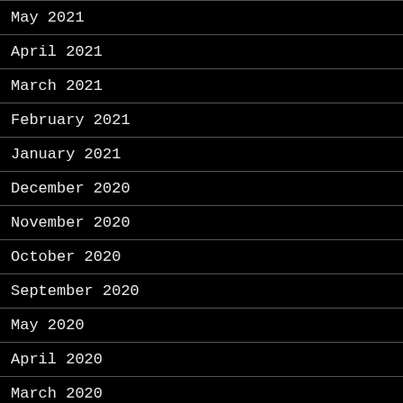May 2021
April 2021
March 2021
February 2021
January 2021
December 2020
November 2020
October 2020
September 2020
May 2020
April 2020
March 2020
February 2020